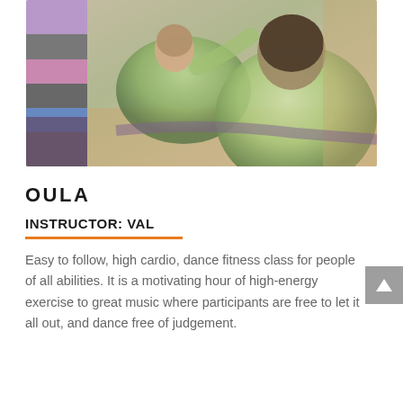[Figure (photo): A yoga/fitness class in session. An instructor in a green top is shown teaching, with colorful foam yoga blocks stacked on the left side. A student in a light green shirt is seen from behind in the foreground.]
OULA
INSTRUCTOR: VAL
Easy to follow, high cardio, dance fitness class for people of all abilities. It is a motivating hour of high-energy exercise to great music where participants are free to let it all out, and dance free of judgement.